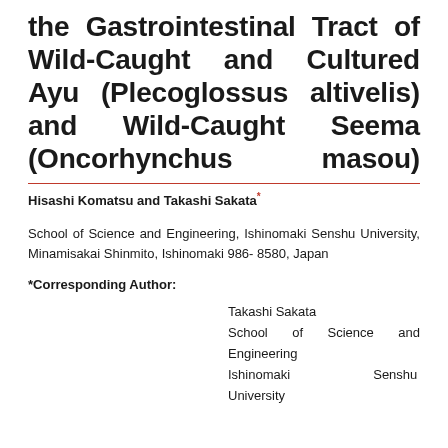the Gastrointestinal Tract of Wild-Caught and Cultured Ayu (Plecoglossus altivelis) and Wild-Caught Seema (Oncorhynchus masou)
Hisashi Komatsu and Takashi Sakata*
School of Science and Engineering, Ishinomaki Senshu University, Minamisakai Shinmito, Ishinomaki 986-8580, Japan
*Corresponding Author:
Takashi Sakata
School of Science and Engineering
Ishinomaki Senshu University